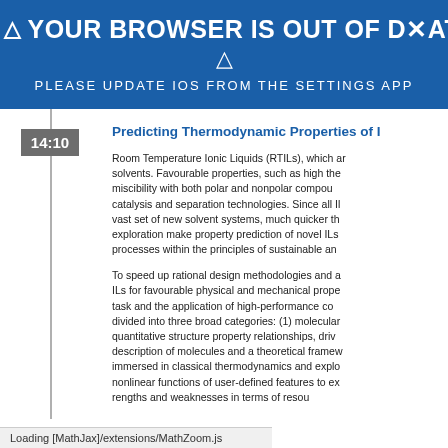⚠ YOUR BROWSER IS OUT OF DATE ✕
⚠
PLEASE UPDATE IOS FROM THE SETTINGS APP
Predicting Thermodynamic Properties of I...
Room Temperature Ionic Liquids (RTILs), which a... solvents. Favourable properties, such as high the... miscibility with both polar and nonpolar compou... catalysis and separation technologies. Since all Il... vast set of new solvent systems, much quicker th... exploration make property prediction of novel ILs... processes within the principles of sustainable an...
To speed up rational design methodologies and a... ILs for favourable physical and mechanical prope... task and the application of high-performance co... divided into three broad categories: (1) molecula... quantitative structure property relationships, driv... description of molecules and a theoretical framew... immersed in classical thermodynamics and explo... nonlinear functions of user-defined features to ex... rengths and weaknesses in terms of reso...
Loading [MathJax]/extensions/MathZoom.js